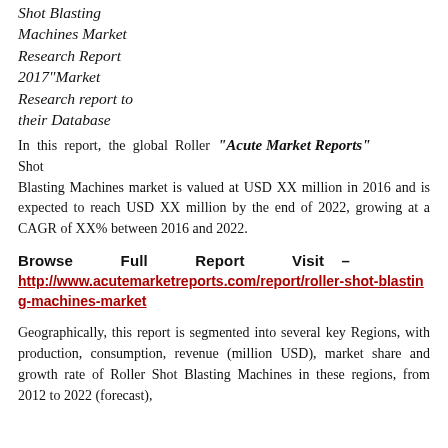Shot Blasting Machines Market Research Report 2017"Market Research report to their Database
In this report, the global Roller Shot Blasting Machines market is valued at USD XX million in 2016 and is expected to reach USD XX million by the end of 2022, growing at a CAGR of XX% between 2016 and 2022.
"Acute Market Reports"
Browse Full Report Visit – http://www.acutemarketreports.com/report/roller-shot-blasting-machines-market
Geographically, this report is segmented into several key Regions, with production, consumption, revenue (million USD), market share and growth rate of Roller Shot Blasting Machines in these regions, from 2012 to 2022 (forecast),